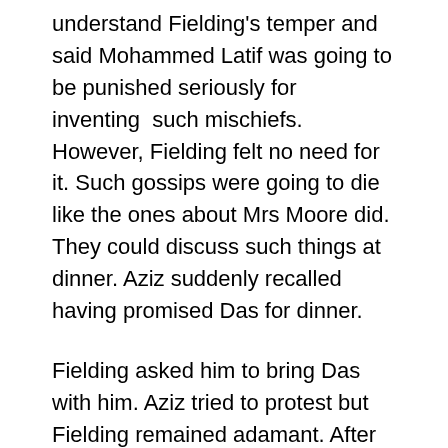understand Fielding's temper and said Mohammed Latif was going to be punished seriously for inventing such mischiefs. However, Fielding felt no need for it. Such gossips were going to die like the ones about Mrs Moore did. They could discuss such things at dinner. Aziz suddenly recalled having promised Das for dinner.
Fielding asked him to bring Das with him. Aziz tried to protest but Fielding remained adamant. After they reached the hospital where Fielding alone went around the maidan. He was annoyed with himself but hoped things will get alright at the dinner. When at the post office, he saw the collector. Turton asked him to show up at the club. Fielding thought he could be relieved for the evening since he had planned the dinner so he asked Turton if he could be excused this time. It was the Lieutenant Governor and therefore there was no